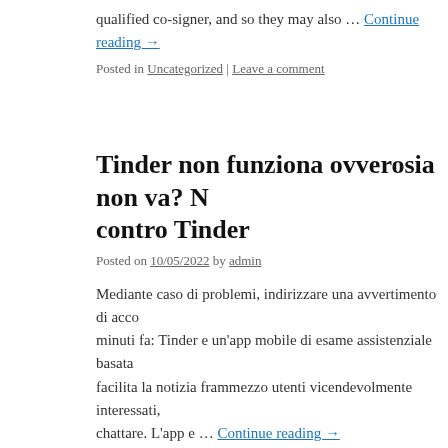qualified co-signer, and so they may also … Continue reading →
Posted in Uncategorized | Leave a comment
Tinder non funziona ovverosia non va? N... contro Tinder
Posted on 10/05/2022 by admin
Mediante caso di problemi, indirizzare una avvertimento di acco... minuti fa: Tinder e un'app mobile di esame assistenziale basata... facilita la notizia frammezzo utenti vicendevolmente interessati,... chattare. L'app e … Continue reading →
Posted in Uncategorized | Leave a comment
Actually, a larhe majority of no deposit bo... wagering requirements
Posted on 10/05/2022 by admin